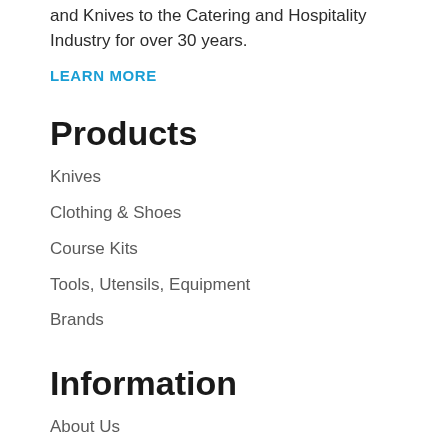and Knives to the Catering and Hospitality Industry for over 30 years.
LEARN MORE
Products
Knives
Clothing & Shoes
Course Kits
Tools, Utensils, Equipment
Brands
Information
About Us
Shipping Information